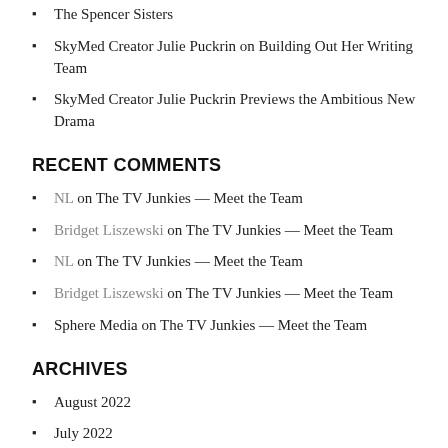The Spencer Sisters
SkyMed Creator Julie Puckrin on Building Out Her Writing Team
SkyMed Creator Julie Puckrin Previews the Ambitious New Drama
RECENT COMMENTS
NL on The TV Junkies — Meet the Team
Bridget Liszewski on The TV Junkies — Meet the Team
NL on The TV Junkies — Meet the Team
Bridget Liszewski on The TV Junkies — Meet the Team
Sphere Media on The TV Junkies — Meet the Team
ARCHIVES
August 2022
July 2022
June 2022